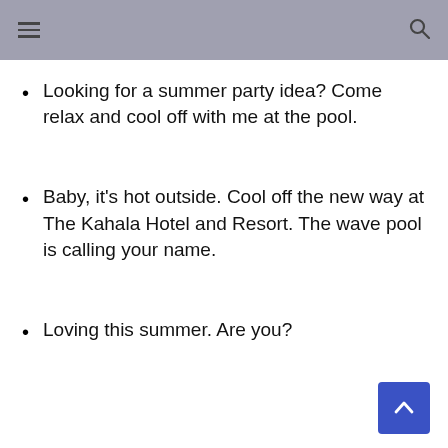Looking for a summer party idea? Come relax and cool off with me at the pool.
Baby, it’s hot outside. Cool off the new way at The Kahala Hotel and Resort. The wave pool is calling your name.
Loving this summer. Are you?